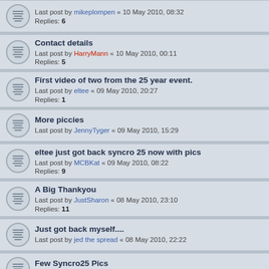Last post by mikeplompen « 10 May 2010, 08:32
Replies: 6
Contact details
Last post by HarryMann « 10 May 2010, 00:11
Replies: 5
First video of two from the 25 year event.
Last post by eltee « 09 May 2010, 20:27
Replies: 1
More piccies
Last post by JennyTyger « 09 May 2010, 15:29
eltee just got back syncro 25 now with pics
Last post by MCBKat « 09 May 2010, 08:22
Replies: 9
A Big Thankyou
Last post by JustSharon « 08 May 2010, 23:10
Replies: 11
Just got back myself....
Last post by jed the spread « 08 May 2010, 22:22
Few Syncro25 Pics
Last post by Mudlark « 07 May 2010, 19:47
Mammut Pics.....in no particular order
Last post by max.karisma « 06 May 2010, 21:04
Replies: 5
A few Syncro25 videos
Last post by Boltze « 06 May 2010, 13:44
Replies: 1